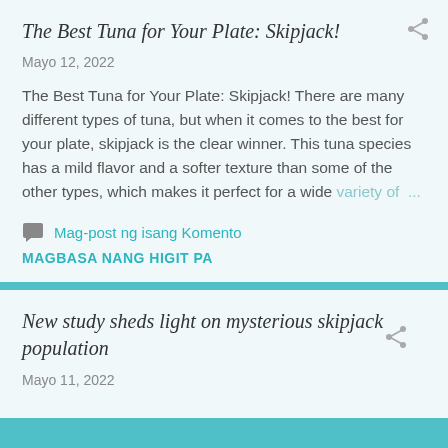The Best Tuna for Your Plate: Skipjack!
Mayo 12, 2022
The Best Tuna for Your Plate: Skipjack! There are many different types of tuna, but when it comes to the best for your plate, skipjack is the clear winner. This tuna species has a mild flavor and a softer texture than some of the other types, which makes it perfect for a wide variety of ...
Mag-post ng isang Komento
MAGBASA NANG HIGIT PA
New study sheds light on mysterious skipjack population
Mayo 11, 2022